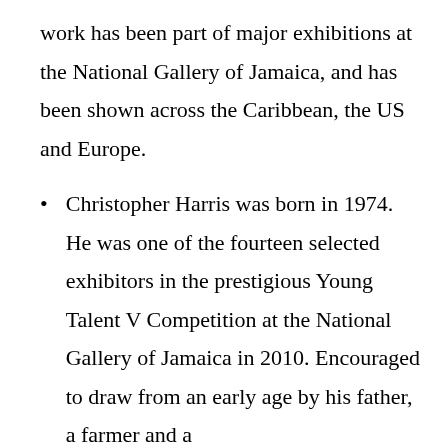work has been part of major exhibitions at the National Gallery of Jamaica, and has been shown across the Caribbean, the US and Europe.
Christopher Harris was born in 1974. He was one of the fourteen selected exhibitors in the prestigious Young Talent V Competition at the National Gallery of Jamaica in 2010. Encouraged to draw from an early age by his father, a farmer and a